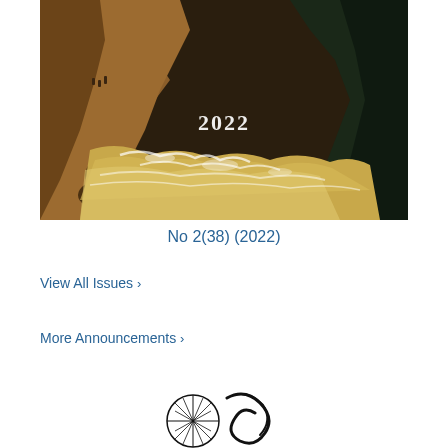[Figure (photo): A dramatic painting of a turbulent rocky river gorge with churning white water, large boulders, and steep reddish-brown cliffs. Tiny figures of people with horses are visible on the left cliff side. The year '2022' is overlaid in white text in the center of the image.]
No 2(38) (2022)
View All Issues ›
More Announcements ›
[Figure (logo): A black and white circular logo/emblem with stylized lettering, partially visible at the bottom of the page.]